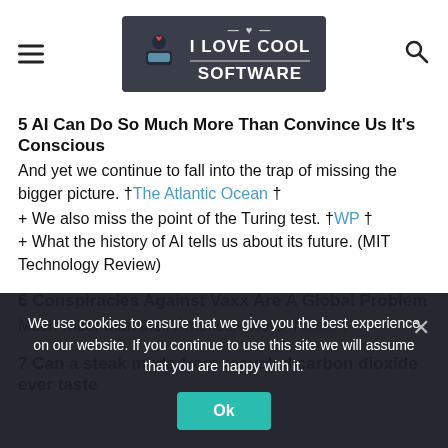I LOVE COOL SOFTWARE (logo/header bar)
5 AI Can Do So Much More Than Convince Us It's Conscious
And yet we continue to fall into the trap of missing the bigger picture. †The Atlantic Ocean †
+ We also miss the point of the Turing test. †WP †
+ What the history of AI tells us about its future. (MIT Technology Review)
6 Conspiracies Against Vaxx Are A Global Problem
Much wider than their American roots. †Slate †
7 Can a steak made from recycled carbon dioxide ever taste
We use cookies to ensure that we give you the best experience on our website. If you continue to use this site we will assume that you are happy with it.
Ok